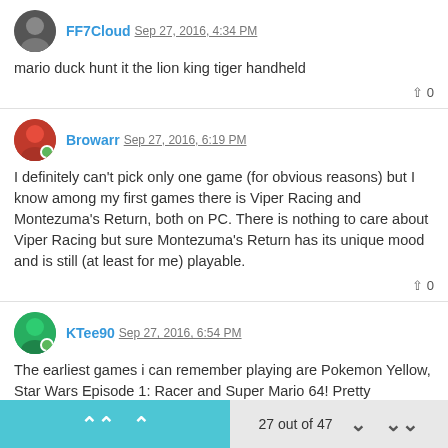FF7Cloud Sep 27, 2016, 4:34 PM
mario duck hunt it the lion king tiger handheld
0
Browarr Sep 27, 2016, 6:19 PM
I definitely can't pick only one game (for obvious reasons) but I know among my first games there is Viper Racing and Montezuma's Return, both on PC. There is nothing to care about Viper Racing but sure Montezuma's Return has its unique mood and is still (at least for me) playable.
0
KTee90 Sep 27, 2016, 6:54 PM
The earliest games i can remember playing are Pokemon Yellow, Star Wars Episode 1: Racer and Super Mario 64! Pretty unsurprising seeing as they were all (and still are) popular games :')
27 out of 47